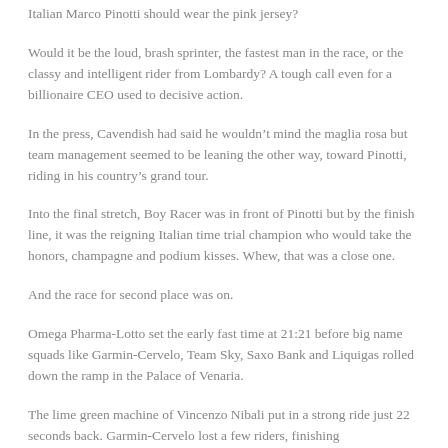Italian Marco Pinotti should wear the pink jersey?
Would it be the loud, brash sprinter, the fastest man in the race, or the classy and intelligent rider from Lombardy? A tough call even for a billionaire CEO used to decisive action.
In the press, Cavendish had said he wouldn't mind the maglia rosa but team management seemed to be leaning the other way, toward Pinotti, riding in his country's grand tour.
Into the final stretch, Boy Racer was in front of Pinotti but by the finish line, it was the reigning Italian time trial champion who would take the honors, champagne and podium kisses. Whew, that was a close one.
And the race for second place was on.
Omega Pharma-Lotto set the early fast time at 21:21 before big name squads like Garmin-Cervelo, Team Sky, Saxo Bank and Liquigas rolled down the ramp in the Palace of Venaria.
The lime green machine of Vincenzo Nibali put in a strong ride just 22 seconds back. Garmin-Cervelo lost a few riders, finishing